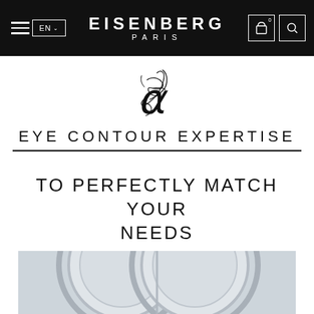EISENBERG PARIS — Navigation bar with hamburger menu, EN language selector, brand name, bag and search icons
[Figure (logo): Eisenberg Paris JE cursive monogram logo in black ink on white background]
EYE CONTOUR EXPERTISE
TO PERFECTLY MATCH YOUR NEEDS
[Figure (photo): Product photo showing silver/chrome circular cosmetic jar lids on light grey background, partially visible at bottom of page]